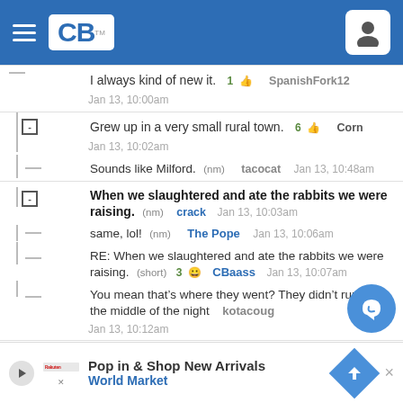CB (ComicBook) website header with hamburger menu and user icon
I always kind of new it. 1 [thumbs up] SpanishFork12 Jan 13, 10:00am
Grew up in a very small rural town. 6 [thumbs up] Corn Jan 13, 10:02am
Sounds like Milford. (nm) tacocat Jan 13, 10:48am
When we slaughtered and ate the rabbits we were raising. (nm) crack Jan 13, 10:03am
same, lol! (nm) The Pope Jan 13, 10:06am
RE: When we slaughtered and ate the rabbits we were raising. (short) 3 [smiley] CBaass Jan 13, 10:07am
You mean that's where they went? They didn't run off in the middle of the night kotacoug Jan 13, 10:12am
When every few years we had a "DI" Christmas and half the toys didn't (short) 4 [smiley] R.Nichols Jan 13, 10:08am
Board games for Christmas with missing (
Pop in & Shop New Arrivals World Market advertisement